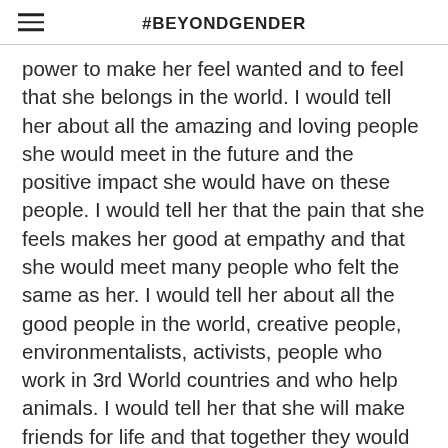#BEYONDGENDER
power to make her feel wanted and to feel that she belongs in the world. I would tell her about all the amazing and loving people she would meet in the future and the positive impact she would have on these people. I would tell her that the pain that she feels makes her good at empathy and that she would meet many people who felt the same as her. I would tell her about all the good people in the world, creative people, environmentalists, activists, people who work in 3rd World countries and who help animals. I would tell her that she will make friends for life and that together they would change to world and make it a better place. I would